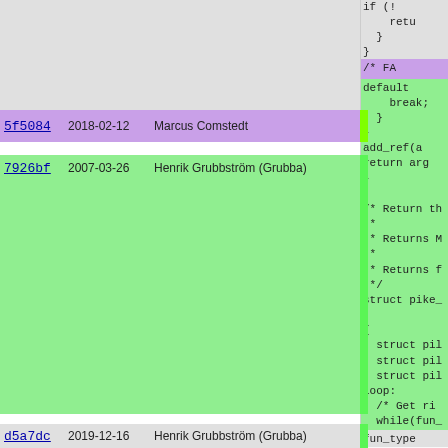| Commit | Date | Author | Code |
| --- | --- | --- | --- |
| 5f5084 | 2018-02-12 | Marcus Comstedt | /* FA... |
| 7926bf | 2007-03-26 | Henrik Grubbström (Grubba) | default
    break;
  }
}
add_ref(a...
return arg...
}

/* Return th...
 *
 * Returns M...
 *
 * Returns f...
 */
struct pike_

{
  struct pil
  struct pil
  struct pil
loop:
  /* Get ri...
  while(fun_... |
| d5a7dc | 2019-12-16 | Henrik Grubbström (Grubba) | fun_type... |